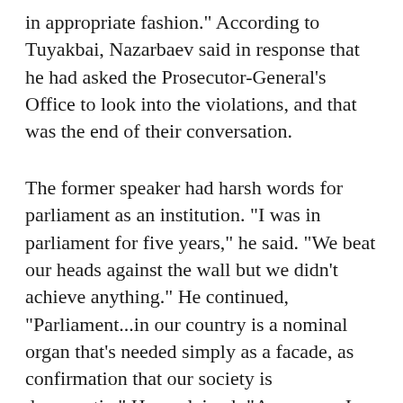in appropriate fashion." According to Tuyakbai, Nazarbaev said in response that he had asked the Prosecutor-General's Office to look into the violations, and that was the end of their conversation.
The former speaker had harsh words for parliament as an institution. "I was in parliament for five years," he said. "We beat our heads against the wall but we didn't achieve anything." He continued, "Parliament...in our country is a nominal organ that's needed simply as a facade, as confirmation that our society is democratic." He explained: "As soon as I came to parliament, I realized that the Mazhilis cannot really do anything. It's completely surrounded by a fence of prohibitions: don't go here, don't go there, this is forbidden, that's not part of the program. In reality, Mazhilis members can't do